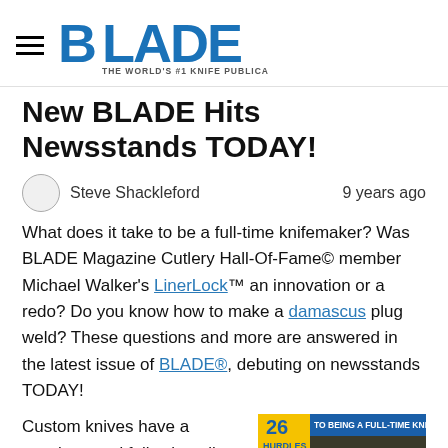BLADE — THE WORLD'S #1 KNIFE PUBLICATION
New BLADE Hits Newsstands TODAY!
Steve Shackleford    9 years ago
What does it take to be a full-time knifemaker? Was BLADE Magazine Cutlery Hall-Of-Fame© member Michael Walker's LinerLock™ an innovation or a redo? Do you know how to make a damascus plug weld? These questions and more are answered in the latest issue of BLADE®, debuting on newsstands TODAY!
Custom knives have a mystique and following all
[Figure (photo): Magazine cover showing BLADE magazine with text '26 HURDLES TO BEING A FULL-TIME KNIFEMAKER' and a large knife image, MAY 2014 issue]